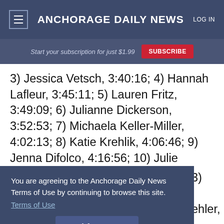Anchorage Daily News — LOG IN
Start your subscription for just $1.99  SUBSCRIBE
3) Jessica Vetsch, 3:40:16; 4) Hannah Lafleur, 3:45:11; 5) Lauren Fritz, 3:49:09; 6) Julianne Dickerson, 3:52:53; 7) Michaela Keller-Miller, 4:02:13; 8) Katie Krehlik, 4:06:46; 9) Jenna Difolco, 4:16:56; 10) Julie Johnson, 4:17:33; 11) Sarah
You are agreeing to the Anchorage Daily News Terms of Use by continuing to browse this site. Terms of Use  I Accept